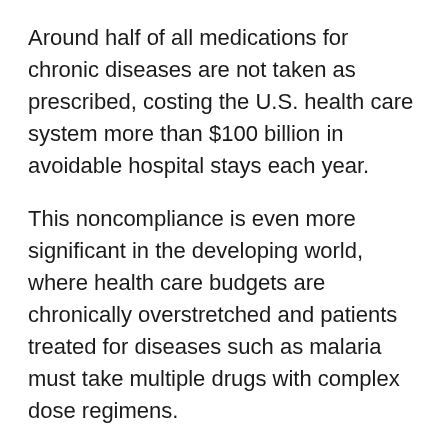Around half of all medications for chronic diseases are not taken as prescribed, costing the U.S. health care system more than $100 billion in avoidable hospital stays each year.
This noncompliance is even more significant in the developing world, where health care budgets are chronically overstretched and patients treated for diseases such as malaria must take multiple drugs with complex dose regimens.
To help ensure patients receive their full course of treatment, researchers at MIT and Brigham and Women's Hospital have developed a new set of drug delivery materials, which can reside in the stomach for up to nine days, slowly releasing their dosage of medication.